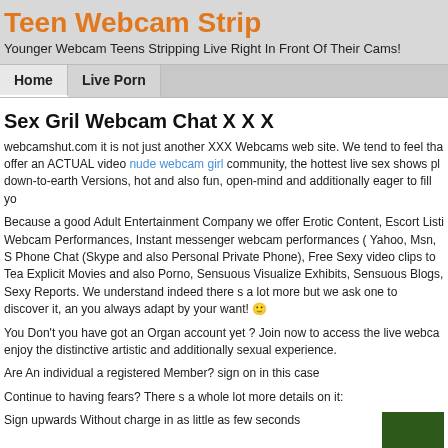Teen Webcam Strip
Younger Webcam Teens Stripping Live Right In Front Of Their Cams!
Home | Live Porn
Sex Gril Webcam Chat X X X
webcamshut.com it is not just another XXX Webcams web site. We tend to feel that offer an ACTUAL video nude webcam girl community, the hottest live sex shows plu down-to-earth Versions, hot and also fun, open-mind and additionally eager to fill yo
Because a good Adult Entertainment Company we offer Erotic Content, Escort Listi Webcam Performances, Instant messenger webcam performances ( Yahoo, Msn, S Phone Chat (Skype and also Personal Private Phone), Free Sexy video clips to Tea Explicit Movies and also Porno, Sensuous Visualize Exhibits, Sensuous Blogs, Sexy Reports. We understand indeed there s a lot more but we ask one to discover it, an you always adapt by your want! 🙂
You Don't you have got an Organ account yet ? Join now to access the live webca enjoy the distinctive artistic and additionally sexual experience.
Are An individual a registered Member? sign on in this case
Continue to having fears? There s a whole lot more details on it:
Sign upwards Without charge in as little as few seconds